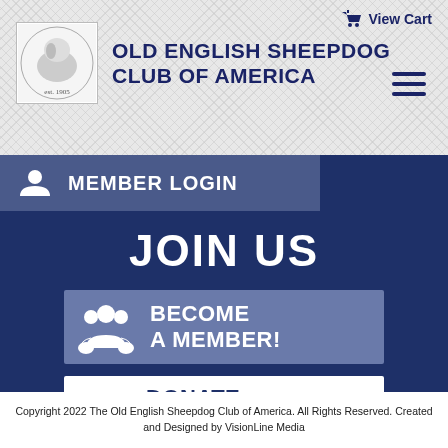View Cart
OLD ENGLISH SHEEPDOG CLUB OF AMERICA
MEMBER LOGIN
JOIN US
BECOME A MEMBER!
DONATE TO OESCA
Terms of Use & Privacy Policy
Copyright 2022 The Old English Sheepdog Club of America. All Rights Reserved. Created and Designed by VisionLine Media